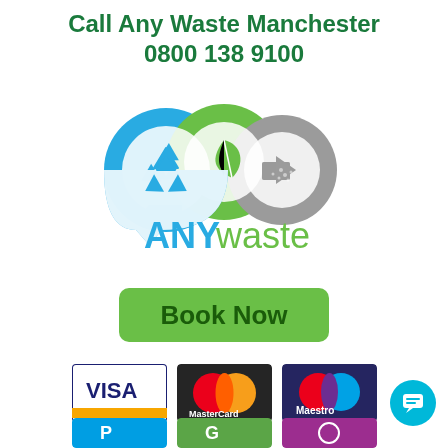Call Any Waste Manchester
0800 138 9100
[Figure (logo): ANYwaste company logo with three overlapping circles: blue circle with recycling arrows icon, green circle with leaf icon, grey circle with skip/disposal icon, and the text ANYwaste below in blue/green colors]
[Figure (other): Green rounded rectangle Book Now button]
[Figure (other): Payment method logos: Visa, MasterCard, Maestro cards and additional payment logos partially visible]